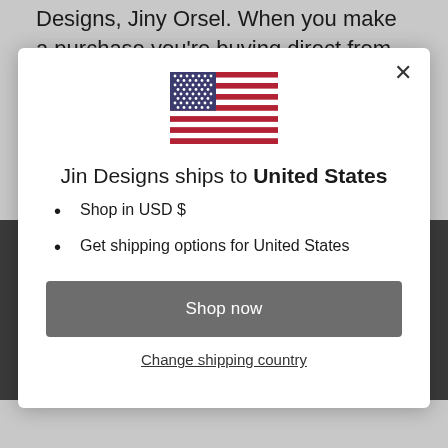Designs, Jiny Orsel. When you make a purchase you're buying direct from the designer and
[Figure (illustration): US flag SVG illustration shown in modal dialog]
Jin Designs ships to United States
Shop in USD $
Get shipping options for United States
Shop now
Change shipping country